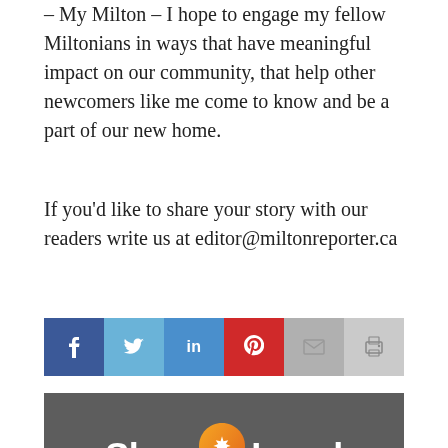– My Milton – I hope to engage my fellow Miltonians in ways that have meaningful impact on our community, that help other newcomers like me come to know and be a part of our new home.
If you'd like to share your story with our readers write us at editor@miltonreporter.ca
[Figure (infographic): Social media sharing bar with icons for Facebook, Twitter, LinkedIn, Pinterest, Email, and Print]
[Figure (infographic): Shop Local #shoplocalmilton advertisement from Milton Chamber of Commerce. Dark grey banner with orange/yellow map pin icon containing a maple leaf. Text reads: The Milton Chamber of Commerce is encouraging Miltonians to... THINK, BUY, STAY & EAT LOCAL. When you shop locally it helps to boost the economy, creates more jobs and is an opportunity for personal investment in the Milton community. A win, win for everyone!]